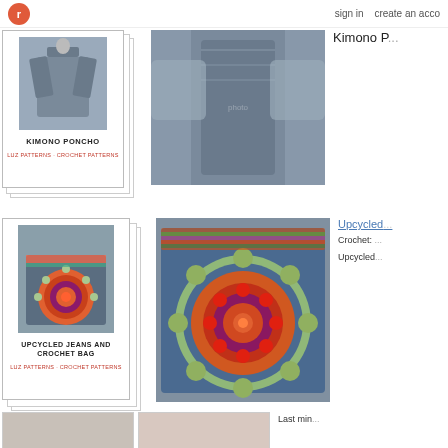r  sign in  create an acco
[Figure (photo): Crochet pattern card for Kimono Poncho with stacked paper effect, showing a grey crocheted kimono poncho on a mannequin]
[Figure (photo): Large photo of grey crocheted kimono poncho on a person]
Kimono P...
[Figure (photo): Pattern card for Upcycled Jeans and Crochet Bag with stacked paper effect, showing a colorful mandala crochet bag]
[Figure (photo): Large photo of Upcycled Jeans and Crochet Bag - denim bag with large colorful mandala crochet flap]
Upcycled...  Crochet: ...  Upcycled...
[Figure (photo): Partial view of another pattern item at bottom of page]